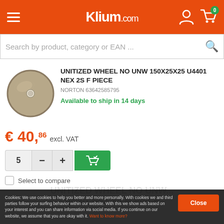Klium.com
Search by product, category or EAN ...
[Figure (photo): Circular unitized abrasive wheel (disc-shaped, beige/tan color with center hole), product photo on white background]
UNITIZED WHEEL NO UNW 150X25X25 U4401 NEX 2S F PIECE
NORTON 63642585795
Available to ship in 14 days
€ 40,86 excl. VAT
5
Select to compare
Cookies: We use cookies to help you better and more personally. With cookies we and third parties follow your surfing behavior within our website. With this we show ads based on your interest and you can share information via social media. If you continue on our website, we assume that you are okay with it. Want to know more?